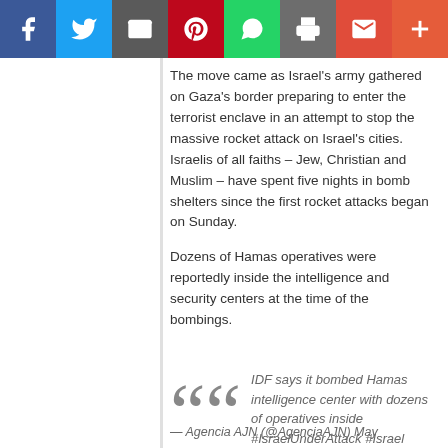[Figure (other): Social media share bar with icons for Facebook, Twitter, Email, Pinterest, WhatsApp, Print, Gmail, and More]
The move came as Israel's army gathered on Gaza's border preparing to enter the terrorist enclave in an attempt to stop the massive rocket attack on Israel's cities. Israelis of all faiths – Jew, Christian and Muslim – have spent five nights in bomb shelters since the first rocket attacks began on Sunday.
Dozens of Hamas operatives were reportedly inside the intelligence and security centers at the time of the bombings.
IDF says it bombed Hamas intelligence center with dozens of operatives inside #IsraelUnderAttack #Israel #Palestina #hammas #Hamas #Gaza #Palestine https://t.co/ZsCoOe3JJz pic.twitter.com/7P2DQ0JpAg
— Agencia AJN (@AgenciaAJN) May